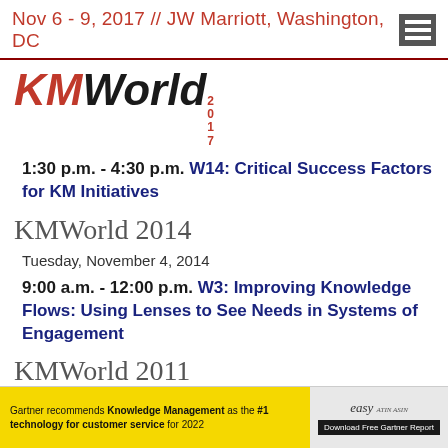Nov 6 - 9, 2017 // JW Marriott, Washington, DC
[Figure (logo): KMWorld 2017 logo with KM in red italic and World in black italic, year 2017 in small red text]
1:30 p.m. - 4:30 p.m.  W14: Critical Success Factors for KM Initiatives
KMWorld 2014
Tuesday, November 4, 2014
9:00 a.m. - 12:00 p.m.  W3: Improving Knowledge Flows: Using Lenses to See Needs in Systems of Engagement
KMWorld 2011
Monday, October 31, 2011
[Figure (infographic): Advertisement banner: yellow section says 'Gartner recommends Knowledge Management as the #1 technology for customer service for 2022', right gray section has 'easy' logo and 'Download Free Gartner Report' button]